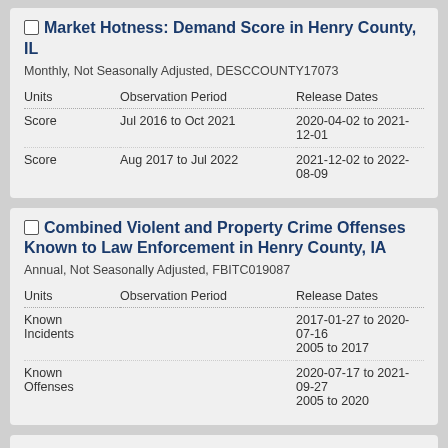Market Hotness: Demand Score in Henry County, IL
Monthly, Not Seasonally Adjusted, DESCCOUNTY17073
| Units | Observation Period | Release Dates |
| --- | --- | --- |
| Score | Jul 2016 to Oct 2021 | 2020-04-02 to 2021-12-01 |
| Score | Aug 2017 to Jul 2022 | 2021-12-02 to 2022-08-09 |
Combined Violent and Property Crime Offenses Known to Law Enforcement in Henry County, IA
Annual, Not Seasonally Adjusted, FBITC019087
| Units | Observation Period | Release Dates |
| --- | --- | --- |
| Known Incidents | 2005 to 2017 | 2017-01-27 to 2020-07-16 |
| Known Offenses | 2005 to 2020 | 2020-07-17 to 2021-09-27 |